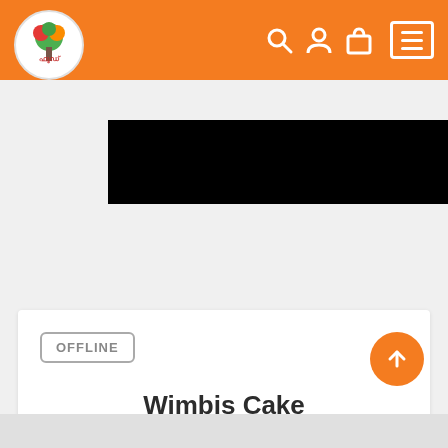Navigation bar with logo, search, user, cart, and menu icons
[Figure (screenshot): Black redacted banner image on gray background]
OFFLINE
Wimbis Cake
BAKERY
[Figure (other): 5 empty/outline star rating icons in yellow/orange]
Patturaikkal